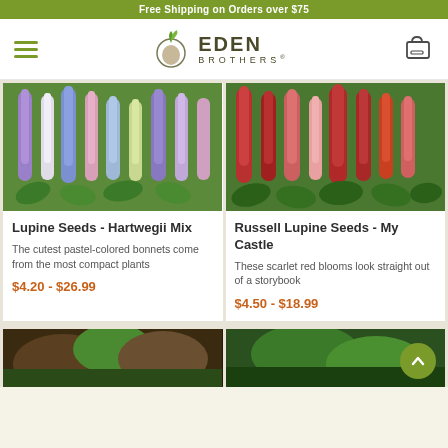Free Shipping on Orders over $75
[Figure (logo): Eden Brothers logo with green sprout icon, EDEN BROTHERS text]
[Figure (photo): Lupine Seeds - Hartwegii Mix: colorful pastel lupine flowers in purple, blue, pink, white]
Lupine Seeds - Hartwegii Mix
The cutest pastel-colored bonnets come from the most compact plants
$4.20 - $26.99
[Figure (photo): Russell Lupine Seeds - My Castle: tall scarlet red lupine blooms]
Russell Lupine Seeds - My Castle
These scarlet red blooms look straight out of a storybook
$4.50 - $18.99
[Figure (photo): Bottom left product thumbnail partially visible]
[Figure (photo): Bottom right product thumbnail partially visible]